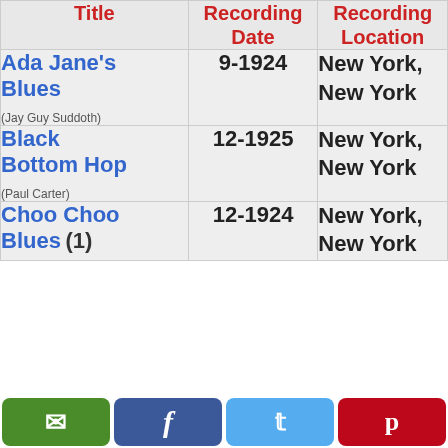| Title | Recording Date | Recording Location |
| --- | --- | --- |
| Ada Jane's Blues
(Jay Guy Suddoth) | 9-1924 | New York, New York |
| Black Bottom Hop
(Paul Carter) | 12-1925 | New York, New York |
| Choo Choo Blues (1) | 12-1924 | New York, New York |